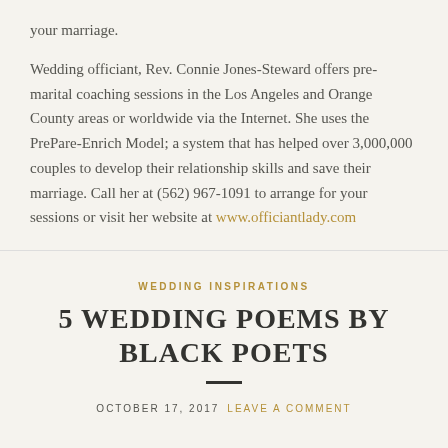your marriage.
Wedding officiant, Rev. Connie Jones-Steward offers pre-marital coaching sessions in the Los Angeles and Orange County areas or worldwide via the Internet. She uses the PrePare-Enrich Model; a system that has helped over 3,000,000 couples to develop their relationship skills and save their marriage. Call her at (562) 967-1091 to arrange for your sessions or visit her website at www.officiantlady.com
WEDDING INSPIRATIONS
5 WEDDING POEMS BY BLACK POETS
OCTOBER 17, 2017   LEAVE A COMMENT